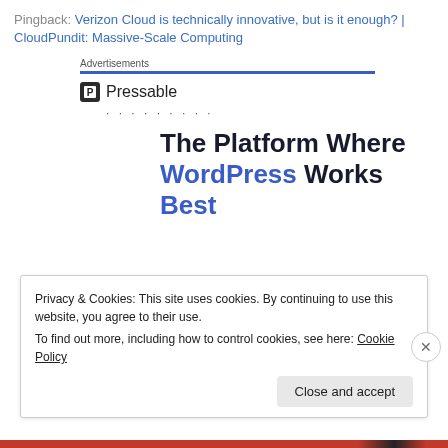Pingback: Verizon Cloud is technically innovative, but is it enough? | CloudPundit: Massive-Scale Computing
Advertisements
[Figure (logo): Pressable logo with icon and dots below]
The Platform Where WordPress Works Best
Privacy & Cookies: This site uses cookies. By continuing to use this website, you agree to their use. To find out more, including how to control cookies, see here: Cookie Policy
Close and accept